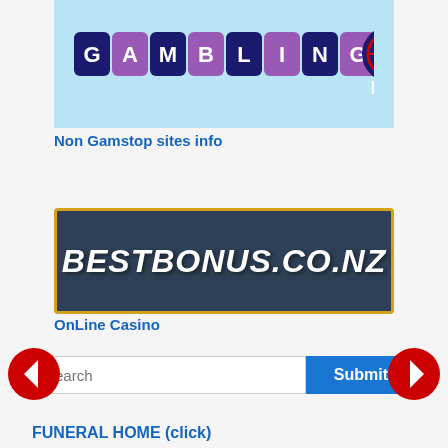[Figure (logo): GamblingPro logo with colorful letter tiles on light blue background]
Non Gamstop sites info
[Figure (logo): BESTBONUS.CO.NZ logo in white italic text on dark blue/grey background with yellow border]
OnLine Casino
Search [input field] Submit [button]
[Figure (other): Left navigation arrow (red circle with white left arrow)]
[Figure (other): Right navigation arrow (red circle with white right arrow)]
FUNERAL HOME (click)